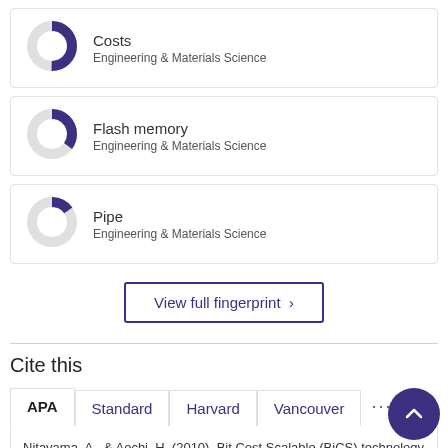[Figure (donut-chart): Donut chart showing Costs - Engineering & Materials Science, approx 75% filled in purple]
Costs
Engineering & Materials Science
[Figure (donut-chart): Donut chart showing Flash memory - Engineering & Materials Science, approx 60% filled in purple]
Flash memory
Engineering & Materials Science
[Figure (donut-chart): Donut chart showing Pipe - Engineering & Materials Science, approx 40% filled in purple]
Pipe
Engineering & Materials Science
View full fingerprint ›
Cite this
APA  Standard  Harvard  Vancouver  ···
Nitayama, A., & Aochi, H. (2010). Bit Cost Scalable (BiCS) technology for future ultra high density storage devices. In